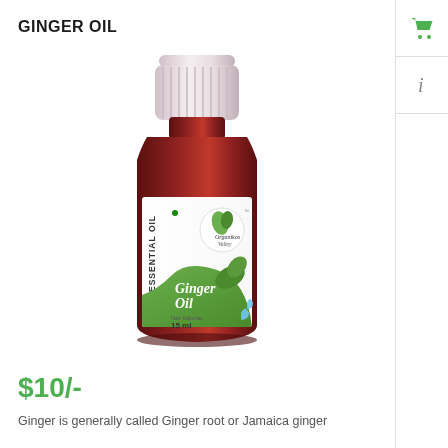GINGER OIL
[Figure (photo): A small amber glass bottle of Organikos Valley Pure Essential Oil - Ginger Oil, 15ml, with a white ribbed cap and a green/white label showing leaf graphics and water droplets.]
$10/-
Ginger is generally called Ginger root or Jamaica ginger